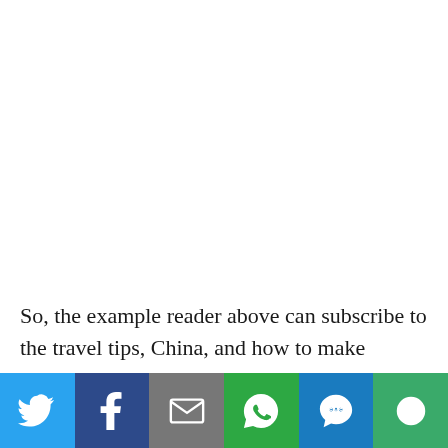So, the example reader above can subscribe to the travel tips, China, and how to make money to travel topics simply by entering the follow addresses into
[Figure (infographic): Social share bar with six buttons: Twitter (blue bird icon), Facebook (dark blue f icon), Email (grey envelope icon), WhatsApp (green phone icon), SMS (blue SMS bubble icon), More (green circular arrows icon)]